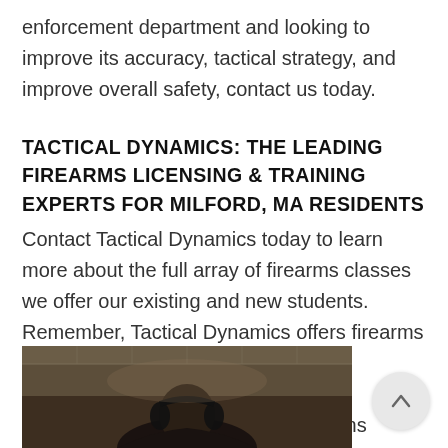enforcement department and looking to improve its accuracy, tactical strategy, and improve overall safety, contact us today.
TACTICAL DYNAMICS: THE LEADING FIREARMS LICENSING & TRAINING EXPERTS FOR MILFORD, MA RESIDENTS
Contact Tactical Dynamics today to learn more about the full array of firearms classes we offer our existing and new students. Remember, Tactical Dynamics offers firearms safety courses that satisfy your Massachusetts Firearms License requirement! If you have any questions regarding our classes, capabilities, or expertise, contact us today.
[Figure (photo): A person wearing headphones/ear protection viewed from behind, appearing to be at a shooting range, sepia/dark toned photograph]